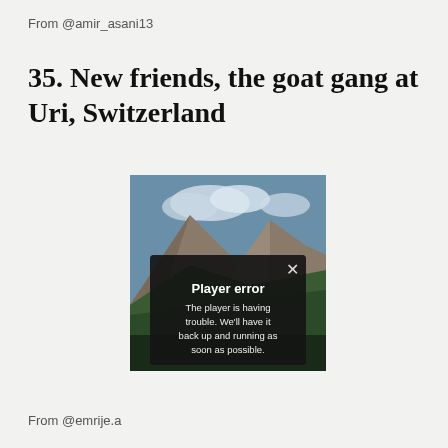From @amir_asani13
35. New friends, the goat gang at Uri, Switzerland
[Figure (screenshot): Video player screenshot showing a mountain landscape (Uri, Switzerland) with a dark overlay error dialog. The dialog shows an X close button in the top right, bold white text 'Player error', and smaller white text 'The player is having trouble. We'll have it back up and running as soon as possible.']
From @emrije.a